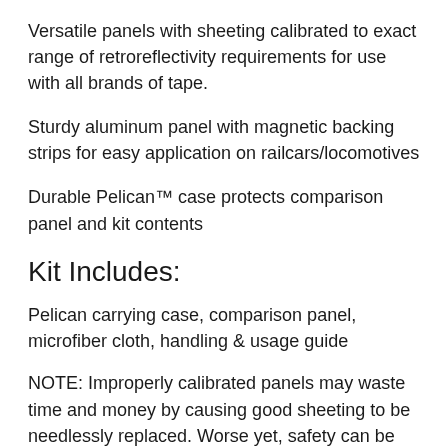Versatile panels with sheeting calibrated to exact range of retroreflectivity requirements for use with all brands of tape.
Sturdy aluminum panel with magnetic backing strips for easy application on railcars/locomotives
Durable Pelican™ case protects comparison panel and kit contents
Kit Includes:
Pelican carrying case, comparison panel, microfiber cloth, handling & usage guide
NOTE: Improperly calibrated panels may waste time and money by causing good sheeting to be needlessly replaced. Worse yet, safety can be compromised by leaving bad sheeting in service on the railcar/locomotive. Trust only certified comparison panels measured by these ASTM test